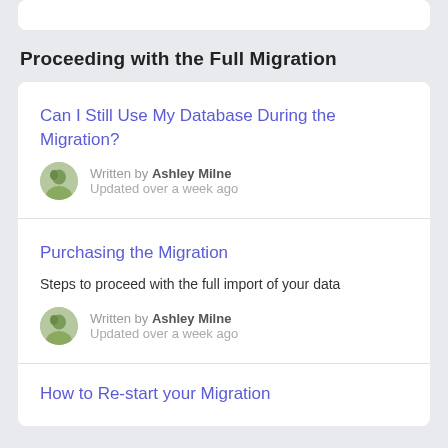Proceeding with the Full Migration
Can I Still Use My Database During the Migration?
Written by Ashley Milne
Updated over a week ago
Purchasing the Migration
Steps to proceed with the full import of your data
Written by Ashley Milne
Updated over a week ago
How to Re-start your Migration